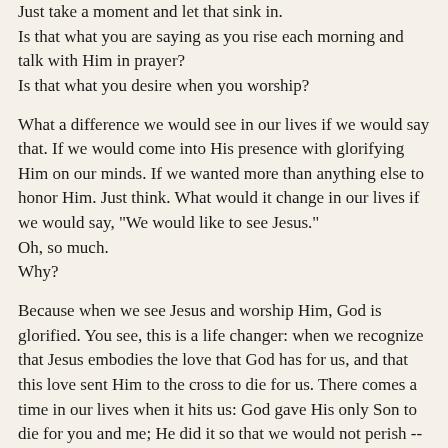Just take a moment and let that sink in.
Is that what you are saying as you rise each morning and talk with Him in prayer?
Is that what you desire when you worship?
What a difference we would see in our lives if we would say that. If we would come into His presence with glorifying Him on our minds. If we wanted more than anything else to honor Him. Just think. What would it change in our lives if we would say, "We would like to see Jesus."
Oh, so much.
Why?
Because when we see Jesus and worship Him, God is glorified. You see, this is a life changer: when we recognize that Jesus embodies the love that God has for us, and that this love sent Him to the cross to die for us. There comes a time in our lives when it hits us: God gave His only Son to die for you and me; He did it so that we would not perish -- we'd have eternal, everlasting life. And when that hits us, it changes our perspective.
We see this truth. Really see it. And then we begin to worship Him.
We surrender our whole hearts and souls to Him.
We want to follow Him. We want to obey His will. And so really